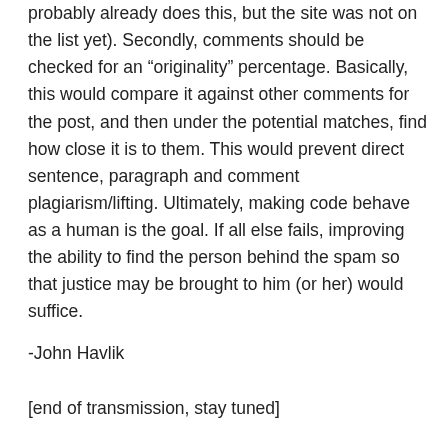probably already does this, but the site was not on the list yet). Secondly, comments should be checked for an “originality” percentage. Basically, this would compare it against other comments for the post, and then under the potential matches, find how close it is to them. This would prevent direct sentence, paragraph and comment plagiarism/lifting. Ultimately, making code behave as a human is the goal. If all else fails, improving the ability to find the person behind the spam so that justice may be brought to him (or her) would suffice.
-John Havlik
[end of transmission, stay tuned]